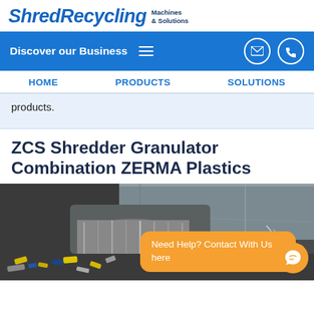ShredRecycling Machines & Solutions
Discover our Business
HOME | PRODUCTS | SOLUTIONS
products.
ZCS Shredder Granulator Combination ZERMA Plastics
[Figure (photo): Close-up photo of a shredder granulator machine processing plastic materials, showing rotating blades and shredded plastic pieces in yellow, blue, and grey colors]
Need Help? Contact With Us here